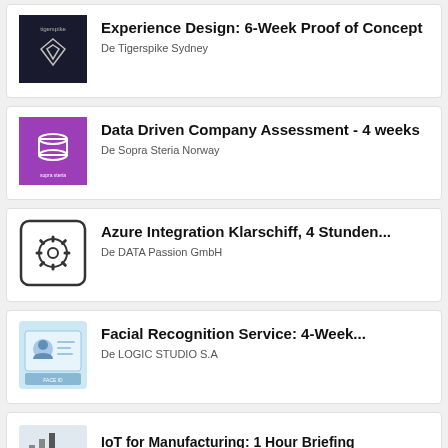Experience Design: 6-Week Proof of Concept — De Tigerspike Sydney
Data Driven Company Assessment - 4 weeks — De Sopra Steria Norway
Azure Integration Klarschiff, 4 Stunden... — De DATA Passion GmbH
Facial Recognition Service: 4-Week... — De LOGIC STUDIO S.A
IoT for Manufacturing: 1 Hour Briefing